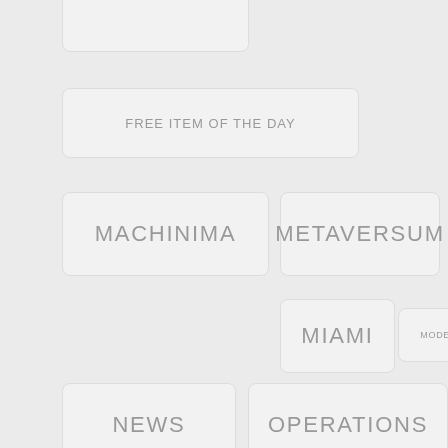(partial box top-left)
FREE ITEM OF THE DAY
MACHINIMA
METAVERSUM
MIAMI
MODEL
NEWS
OPERATIONS
RELATED LINKS
SHOP
SUPPORT
TWINITY